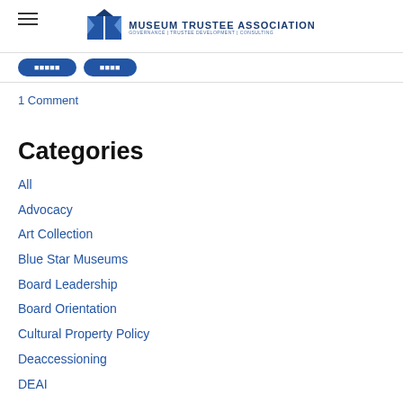Museum Trustee Association — GOVERNANCE | TRUSTEE DEVELOPMENT | CONSULTING
1 Comment
Categories
All
Advocacy
Art Collection
Blue Star Museums
Board Leadership
Board Orientation
Cultural Property Policy
Deaccessioning
DEAI
Donor Acquisition